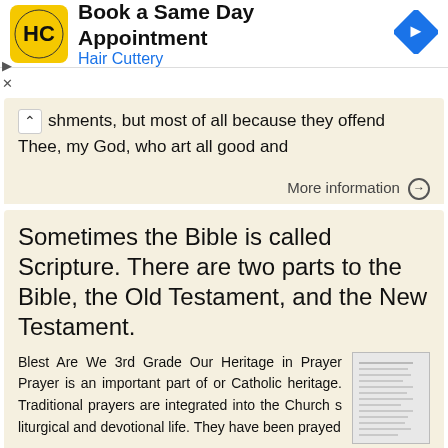[Figure (screenshot): Hair Cuttery advertisement banner with logo, 'Book a Same Day Appointment' heading, and navigation arrow icon]
shments, but most of all because they offend Thee, my God, who art all good and
More information →
Sometimes the Bible is called Scripture. There are two parts to the Bible, the Old Testament, and the New Testament.
Blest Are We 3rd Grade Our Heritage in Prayer Prayer is an important part of or Catholic heritage. Traditional prayers are integrated into the Church s liturgical and devotional life. They have been prayed
More information →